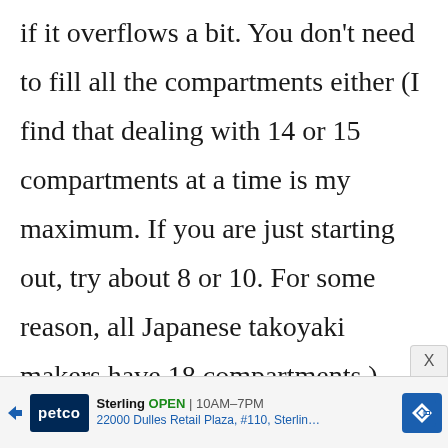if it overflows a bit. You don't need to fill all the compartments either (I find that dealing with 14 or 15 compartments at a time is my maximum. If you are just starting out, try about 8 or 10. For some reason, all Japanese takoyaki makers have 18 compartments.)
[Figure (infographic): Advertisement banner for Petco store in Sterling, open 10AM-7PM, located at 22000 Dulles Retail Plaza #110, Sterling. Contains Petco logo, navigation arrow, and map/directions icon.]